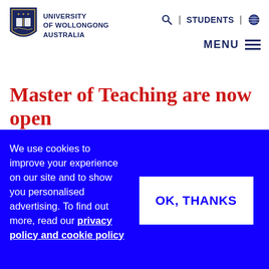[Figure (logo): University of Wollongong Australia shield logo with text]
🔍 | STUDENTS | 🌐  MENU ≡
Master of Teaching are now open
The Master of Teaching (Primary) and Master of
We use cookies to improve your experience on our site and to show you personalised advertising. To find out more, read our privacy policy and cookie policy
OK, THANKS